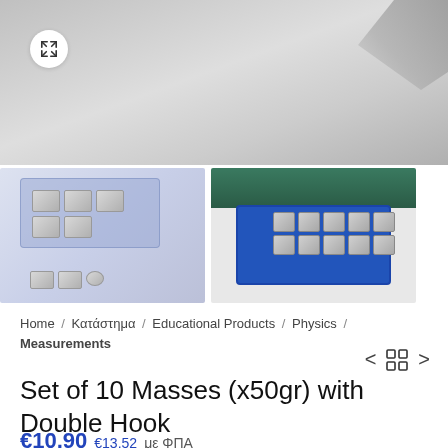[Figure (photo): Main product photo showing a set of masses with double hook, grey background, product partially visible at top right corner]
[Figure (photo): Thumbnail 1: Blue plastic storage box open with silver cylindrical masses inside, and 3 loose masses below the box on white surface]
[Figure (photo): Thumbnail 2: Open bright blue plastic box with 10 silver hook masses arranged in a 2x5 grid, on grey/dark teal background]
Home / Κατάστημα / Educational Products / Physics / Measurements
Set of 10 Masses (x50gr) with Double Hook
€10,90 €13,52 με ΦΠΑ